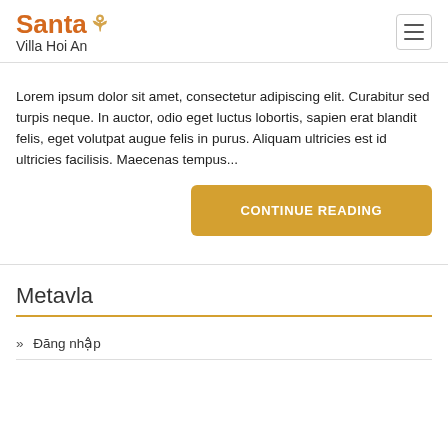Santa Villa Hoi An
Lorem ipsum dolor sit amet, consectetur adipiscing elit. Curabitur sed turpis neque. In auctor, odio eget luctus lobortis, sapien erat blandit felis, eget volutpat augue felis in purus. Aliquam ultricies est id ultricies facilisis. Maecenas tempus...
CONTINUE READING
Metavla
» Đăng nhập